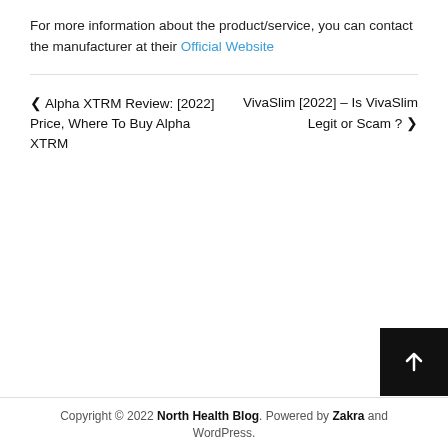For more information about the product/service, you can contact the manufacturer at their Official Website
‹ Alpha XTRM Review: [2022] Price, Where To Buy Alpha XTRM   VivaSlim [2022] – Is VivaSlim Legit or Scam ? ›
Copyright © 2022 North Health Blog. Powered by Zakra and WordPress.